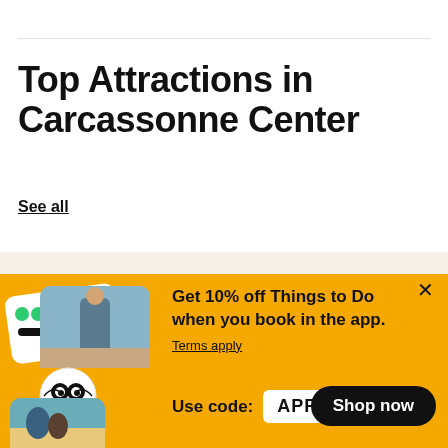Top Attractions in Carcassonne Center
See all
[Figure (illustration): Promotional banner with app screenshots showing activities and TripAdvisor owl logo badge, on a yellow/amber background]
Get 10% off Things to Do when you book in the app.
Terms apply
Use code: APP10
Shop now